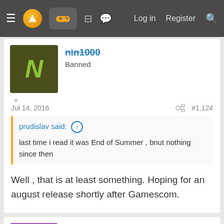Log in  Register
nin1000
Banned
Jul 14, 2016   #1,124
prudislav said: ↑
last time i read it was End of Summer , bnut nothing since then
Well , that is at least something. Hoping for an august release shortly after Gamescom.
atomsk
Party Pooper
Jul 14, 2016   #1,125